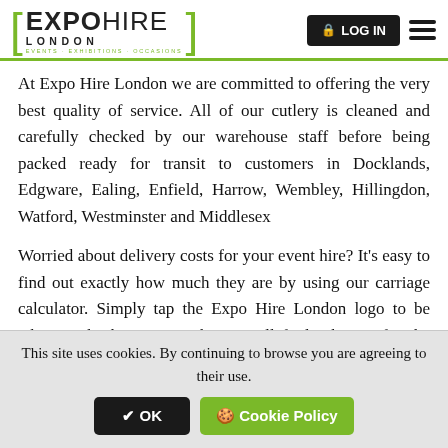[Figure (logo): Expo Hire London logo with green brackets and tagline EVENTS · EXHIBITIONS · OCCASIONS]
At Expo Hire London we are committed to offering the very best quality of service. All of our cutlery is cleaned and carefully checked by our warehouse staff before being packed ready for transit to customers in Docklands, Edgware, Ealing, Enfield, Harrow, Wembley, Hillingdon, Watford, Westminster and Middlesex
Worried about delivery costs for your event hire? It's easy to find out exactly how much they are by using our carriage calculator. Simply tap the Expo Hire London logo to be taken to the homepage where you'll find a button for the carriage
This site uses cookies. By continuing to browse you are agreeing to their use.
✔ OK
🍪 Cookie Policy